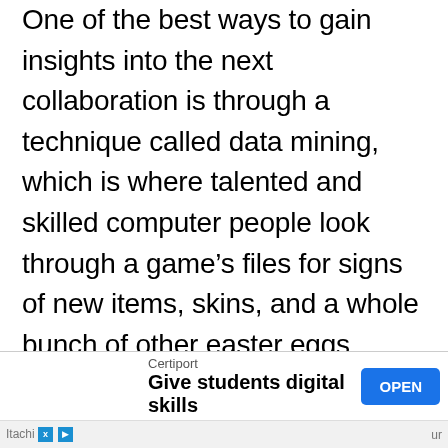One of the best ways to gain insights into the next collaboration is through a technique called data mining, which is where talented and skilled computer people look through a game's files for signs of new items, skins, and a whole bunch of other easter eggs.
[Figure (other): Advertisement banner for Certiport: 'Give students digital skills' with an OPEN button]